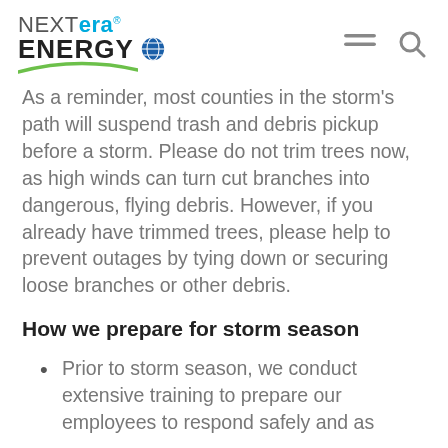NextEra Energy
As a reminder, most counties in the storm's path will suspend trash and debris pickup before a storm. Please do not trim trees now, as high winds can turn cut branches into dangerous, flying debris. However, if you already have trimmed trees, please help to prevent outages by tying down or securing loose branches or other debris.
How we prepare for storm season
Prior to storm season, we conduct extensive training to prepare our employees to respond safely and as